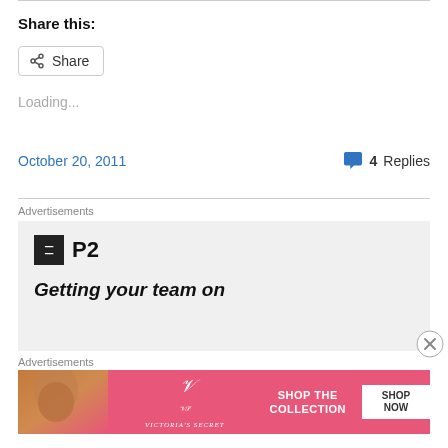Share this:
[Figure (screenshot): Share button with share icon]
Loading...
October 20, 2011   4 Replies
Advertisements
[Figure (screenshot): P2 advertisement banner with logo and tagline 'Getting your team on']
Advertisements
[Figure (screenshot): Victoria's Secret advertisement: SHOP THE COLLECTION - SHOP NOW]